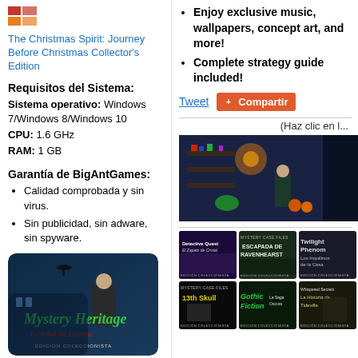[Figure (logo): Grid/table icon in red and orange colors]
The Christmas Spirit: Journey Before Christmas Collector's Edition
Requisitos del Sistema:
Sistema operativo: Windows 7/Windows 8/Windows 10
CPU: 1.6 GHz
RAM: 1 GB
Garantía de BigAntGames:
Calidad comprobada y sin virus.
Sin publicidad, sin adware, sin spyware.
[Figure (photo): Mystery Heritage La Señal del Espíritu Edición Coleccionista game cover]
Enjoy exclusive music, wallpapers, concept art, and more!
Complete strategy guide included!
Tweet
Compartir
(Haz clic en l...
[Figure (screenshot): Game screenshot showing colorful hidden object scene]
[Figure (photo): Detective Quest El Zapato de Cristal Edición Coleccionista]
[Figure (photo): Mystery Case Files Escapada de Ravenhearst Edición Coleccionista]
[Figure (photo): Twilight Phenomena Los Inquilinos de la Casa Edición Coleccionista]
[Figure (photo): Mystery Case Files 13th Skull Edición Coleccionista]
[Figure (photo): Gothic Fiction La Saga Oscura Edición Coleccionista]
[Figure (photo): Whispered Secrets La Historia de Tideville Edición Coleccionista]